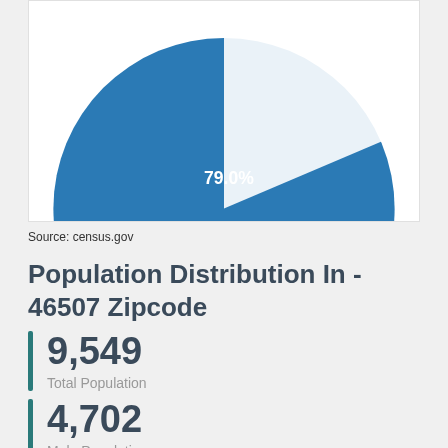[Figure (pie-chart): Pie chart partial view]
Source: census.gov
Population Distribution In - 46507 Zipcode
9,549
Total Population
4,702
Male Population
4,847